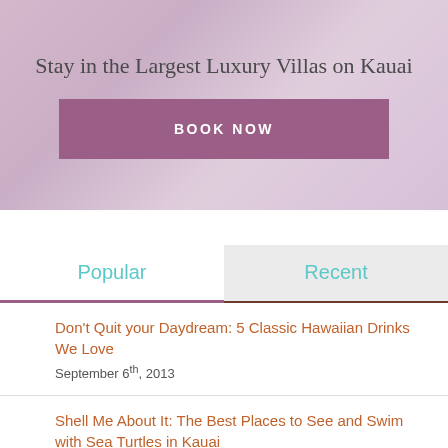[Figure (photo): Hero banner with lavender/purple floral background showing a luxury villa promotion]
Stay in the Largest Luxury Villas on Kauai
BOOK NOW
Popular
Recent
Don't Quit your Daydream: 5 Classic Hawaiian Drinks We Love
September 6th, 2013
Shell Me About It: The Best Places to See and Swim with Sea Turtles in Kauai